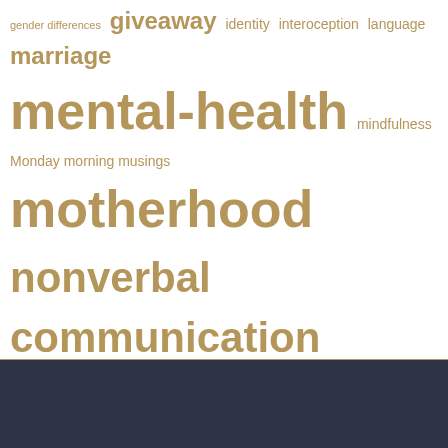[Figure (infographic): Tag cloud with autism/neurodiversity related blog tags in varying sizes in golden-brown color on white background. Tags include: gender differences, giveaway, identity, interoception, language, marriage, mental-health, mindfulness, Monday morning musings, motherhood, nonverbal communication, origin story, parenting, perseveration, reading facial expressions, relationships, self-awareness, self-care, self-employment, sensory dysfunction, sensory overload, sensory processing, sensory regulation, sensory seeking, sensory sensitivities, social communication, social communication issues, social interaction, social scripts, social skills, special interests, speech, stimming, supports, survey, tactile defensiveness, take a test, Tuesday, this is me, unfiltered aspie, verbal communication, work, writing]
[Figure (other): Dark navy/slate footer bar at the bottom of the page]